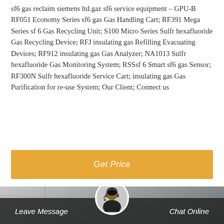sf6 gas reclaim siemens ltd.gaz sf6 service equipment – GPU-B RF051 Economy Series sf6 gas Gas Handling Cart; RF391 Mega Series sf 6 Gas Recycling Unit; S100 Micro Series Sulfr hexafluoride Gas Recycling Device; RFJ insulating gas Refilling Evacuating Devices; RF912 insulating gas Gas Analyzer; NA1013 Sulfr hexafluoride Gas Monitoring System; RSSsf 6 Smart sf6 gas Sensor; RF300N Sulfr hexafluoride Service Cart; insulating gas Gas Purification for re-use System; Our Client; Connect us
[Figure (other): Orange 'Get Price' button with white italic text on amber/orange background]
[Figure (photo): Industrial background image showing power/electrical infrastructure in grayscale with a customer service representative avatar at center bottom, a share icon button at top right, and a dark footer bar with 'Leave Message' on the left and 'Chat Online' on the right]